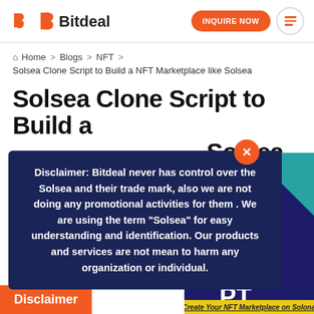Bitdeal | INQUIRE NOW
Home > Blogs > NFT >
Solsea Clone Script to Build a NFT Marketplace like Solsea
Solsea Clone Script to Build a NFT Marketplace like Solsea
Disclaimer: Bitdeal never has control over the Solsea and their trade mark, also we are not doing any promotional activities for them . We are using the term "Solsea" for easy understanding and identification. Our products and services are not mean to harm any organization or individual.
[Figure (screenshot): Purple/dark blue background image with large white letters 'A' and 'PT', teal triangle accent, and yellow bar at bottom reading 'Create Your NFT Marketplace on Solona']
Disclaimer